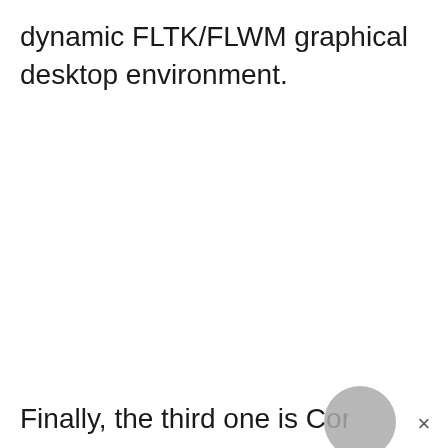dynamic FLTK/FLWM graphical desktop environment.
Finally, the third one is CorePlus that is the